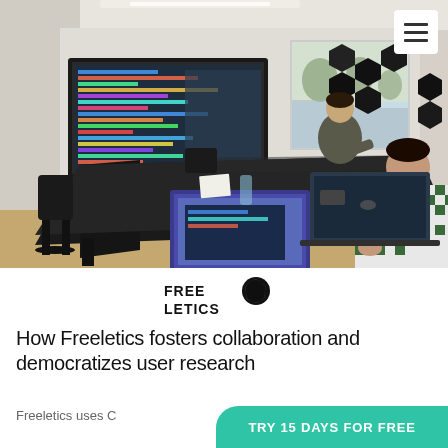[Figure (photo): Conference room with three people around a dark table with laptops. A large TV screen on the wall shows a colorful dashboard. Hexagonal acoustic panels on the wall. A window with a view of trees outside.]
[Figure (logo): Freeletics logo — bold text FREELETICS with a leaf/petal icon]
How Freeletics fosters collaboration and democratizes user research
Freeletics uses C
TRY 15 DAYS FOR FREE